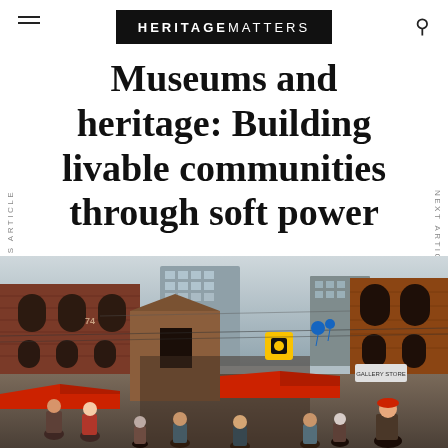HERITAGEMATTERS
Museums and heritage: Building livable communities through soft power
PREVIOUS ARTICLE
NEXT ARTICLE
[Figure (photo): Street-level photograph of a historic brick district with pedestrians, market tents, signs, and a mix of older brick buildings and modern high-rises in the background.]